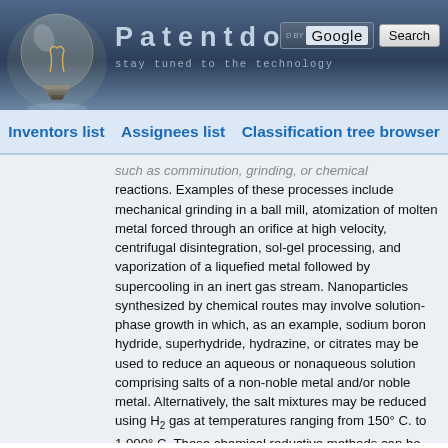Patentdocs — stay tuned to the technology
Inventors list   Assignees list   Classification tree browser
such as comminution, grinding, or chemical reactions. Examples of these processes include mechanical grinding in a ball mill, atomization of molten metal forced through an orifice at high velocity, centrifugal disintegration, sol-gel processing, and vaporization of a liquefied metal followed by supercooling in an inert gas stream. Nanoparticles synthesized by chemical routes may involve solution-phase growth in which, as an example, sodium boron hydride, superhydride, hydrazine, or citrates may be used to reduce an aqueous or nonaqueous solution comprising salts of a non-noble metal and/or noble metal. Alternatively, the salt mixtures may be reduced using H₂ gas at temperatures ranging from 150° C. to 1,000° C. These chemical reductive methods can be used, for example, to make nanoparticles of palladium (Pd), gold (Au), rhodium (Rh), iridium (Ir), ruthenium (Ru), osmium (Os), rhenium (Re), nickel (Ni), cobalt (Co), iron (Fe), copper (Cu), and combinations thereof. Powder-processing techniques are advantageous in that they are